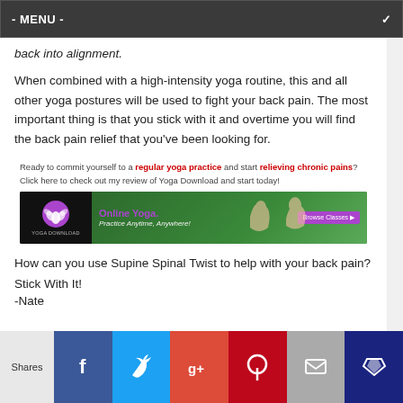- MENU -
back into alignment.
When combined with a high-intensity yoga routine, this and all other yoga postures will be used to fight your back pain. The most important thing is that you stick with it and overtime you will find the back pain relief that you've been looking for.
Ready to commit yourself to a regular yoga practice and start relieving chronic pains? Click here to check out my review of Yoga Download and start today!
[Figure (screenshot): Yoga Download advertisement banner showing Online Yoga - Practice Anytime, Anywhere with Browse Classes button and image of people doing yoga outdoors]
How can you use Supine Spinal Twist to help with your back pain?
Stick With It!
-Nate
Shares | Facebook | Twitter | Google+ | Pinterest | Email | Crown